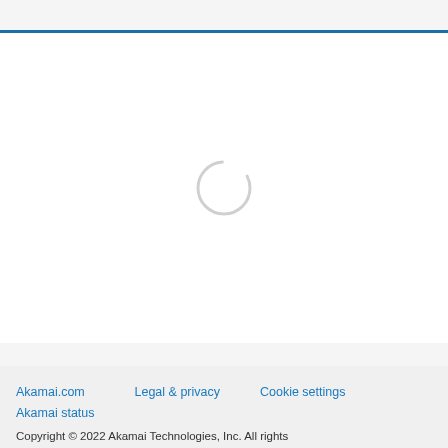[Figure (other): Loading spinner — a light gray circle outline indicating page content is loading]
Akamai.com   Legal & privacy   Cookie settings
Akamai status
Copyright © 2022 Akamai Technologies, Inc. All rights